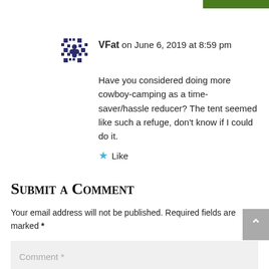VFat on June 6, 2019 at 8:59 pm
Have you considered doing more cowboy-camping as a time-saver/hassle reducer? The tent seemed like such a refuge, don't know if I could do it.
★ Like
Submit a Comment
Your email address will not be published. Required fields are marked *
Comment *